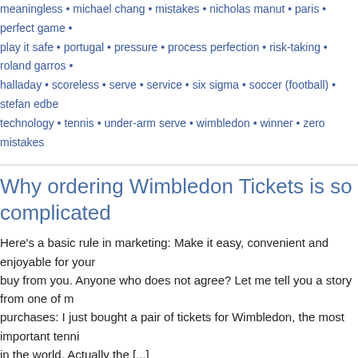meaningless • michael chang • mistakes • nicholas manut • paris • perfect game • play it safe • portugal • pressure • process perfection • risk-taking • roland garros • halladay • scoreless • serve • service • six sigma • soccer (football) • stefan edberg • technology • tennis • under-arm serve • wimbledon • winner • zero mistakes
Why ordering Wimbledon Tickets is so complicated
Here's a basic rule in marketing: Make it easy, convenient and enjoyable for your customers to buy from you. Anyone who does not agree? Let me tell you a story from one of my recent purchases: I just bought a pair of tickets for Wimbledon, the most important tennis tournament in the world. Actually the [...]
Filed under: tennis by Johannes
No Comments » Tagged with: access • all england lawn tennis and croquet club • lawn tennis championship • brand • centre court • choice • complicated • convenience • conversation • customer engagement • engagament • gold dust • identification • internet reply coupon • internet based commerce • involvement • marketing • myth • order • outside court • public ballot • social media • sold out • tennis • tickets • tournament • wimbledon
Do you need a replay official?
Quite a remarkable decision from the soccer world organization FIFA: They will not introduce any additional referees or technology to help referees at the upcoming World Cup in South Africa. That decision came only a few days after French striker Thierry Henry...